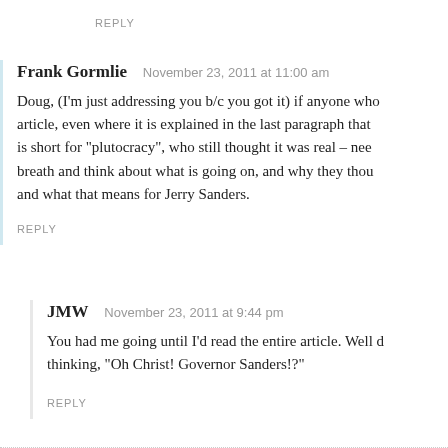REPLY
Frank Gormlie   November 23, 2011 at 11:00 am
Doug, (I'm just addressing you b/c you got it) if anyone who read the article, even where it is explained in the last paragraph that it is short for “plutocracy”, who still thought it was real – need to take a breath and think about what is going on, and why they thought it real, and what that means for Jerry Sanders.
REPLY
JMW   November 23, 2011 at 9:44 pm
You had me going until I’d read the entire article. Well done! I was thinking, “Oh Christ! Governor Sanders!?”
REPLY